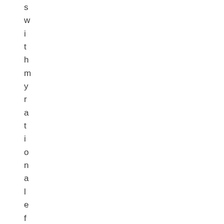s w i t h m y r a t i o n a l e f o r s e l e c t i n g